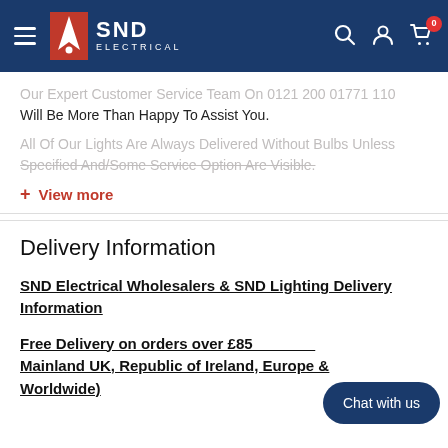SND Electrical
Our Expert Customer Service Team On 0121 200 01771 110 Will Be More Than Happy To Assist You.
All Of Our Lights Are Always Delivered Without Bulbs Unless Specified And/Some Service Option Are Visible.
+ View more
Delivery Information
SND Electrical Wholesalers & SND Lighting Delivery Information
Free Delivery on orders over £85 (Mainland UK, Republic of Ireland, Europe & Worldwide)